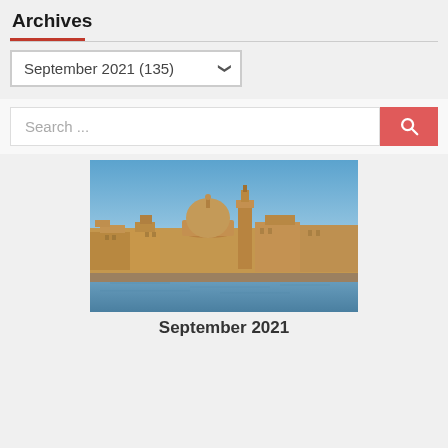Archives
September 2021  (135)
Search ...
[Figure (photo): Cityscape/skyline photograph showing a Mediterranean coastal city (likely Valletta, Malta) with a large cathedral dome and bell tower, warm sandy stone buildings, blue sky, and water in the foreground.]
September 2021